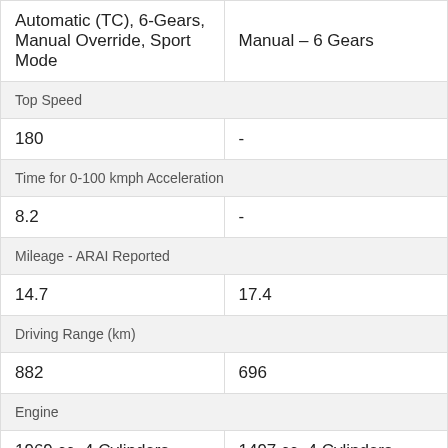| Column 1 | Column 2 |
| --- | --- |
| Automatic (TC), 6-Gears, Manual Override, Sport Mode | Manual – 6 Gears |
| Top Speed |  |
| 180 | - |
| Time for 0-100 kmph Acceleration |  |
| 8.2 | - |
| Mileage - ARAI Reported |  |
| 14.7 | 17.4 |
| Driving Range (km) |  |
| 882 | 696 |
| Engine |  |
| 1969 cc, 4 Cylinders | 1497 cc, 4 Cylinders |